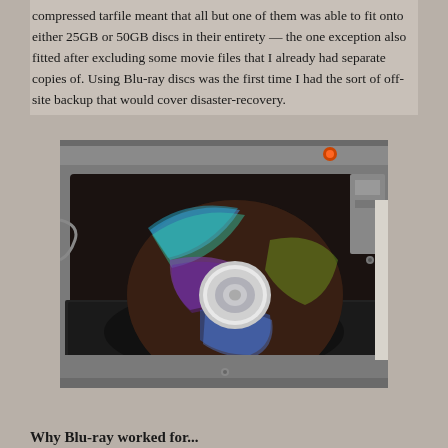compressed tarfile meant that all but one of them was able to fit onto either 25GB or 50GB discs in their entirety — the one exception also fitted after excluding some movie files that I already had separate copies of. Using Blu-ray discs was the first time I had the sort of off-site backup that would cover disaster-recovery.
[Figure (photo): A Blu-ray disc sitting in an open optical disc drive tray, with a metallic enclosure around the drive. The disc shows a rainbow iridescent sheen.]
Why Blu-ray worked for...